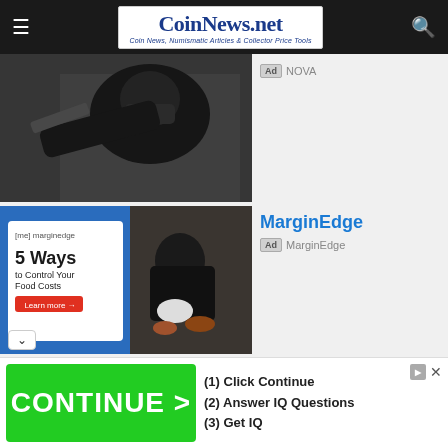CoinNews.net — Coin News, Numismatic Articles & Collector Price Tools
[Figure (screenshot): Ad image: person in black shirt and mask working on machinery]
Ad NOVA
[Figure (screenshot): Ad image: MarginEdge — 5 Ways to Control Your Food Costs, Learn more button, person in mask working at food counter]
MarginEdge
Ad MarginEdge
[Figure (screenshot): Ad image: Caterpillar parts guide booklet on dark soil background with bulldozer on cover]
Quality parts. Quick guides.
Ad Caterpillar Inc.
[Figure (screenshot): Bottom banner ad: green CONTINUE button with steps: (1) Click Continue, (2) Answer IQ Questions, (3) Get IQ]